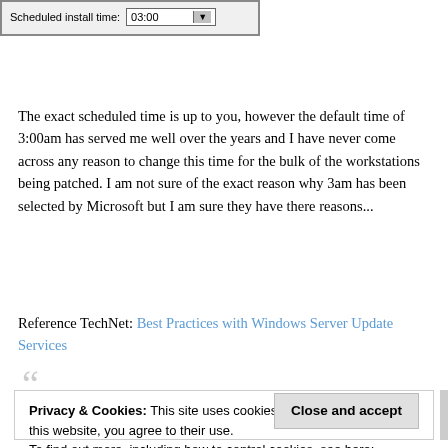[Figure (screenshot): Windows Update scheduled install time dialog showing dropdown set to 03:00]
The exact scheduled time is up to you, however the default time of 3:00am has served me well over the years and I have never come across any reason to change this time for the bulk of the workstations being patched. I am not sure of the exact reason why 3am has been selected by Microsoft but I am sure they have there reasons...
Reference TechNet: Best Practices with Windows Server Update Services
Privacy & Cookies: This site uses cookies. By continuing to use this website, you agree to their use. To find out more, including how to control cookies, see here: Cookie Policy
Close and accept